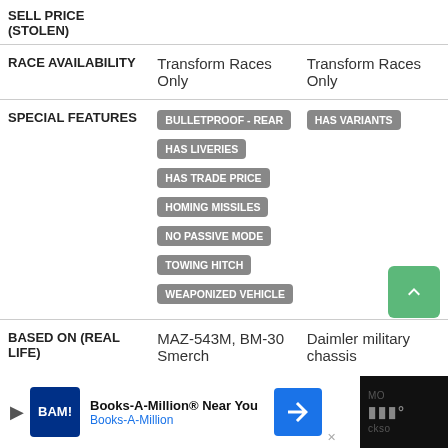|  | Col1 | Col2 |
| --- | --- | --- |
| SELL PRICE (STOLEN) |  |  |
| RACE AVAILABILITY | Transform Races Only | Transform Races Only |
| SPECIAL FEATURES | BULLETPROOF - REAR, HAS LIVERIES, HAS TRADE PRICE, HOMING MISSILES, NO PASSIVE MODE, TOWING HITCH, WEAPONIZED VEHICLE | HAS VARIANTS |
| BASED ON (REAL LIFE) | MAZ-543M, BM-30 Smerch | Daimler military chassis |
[Figure (other): Advertisement bar: Books-A-Million Near You with logo and navigation icon]